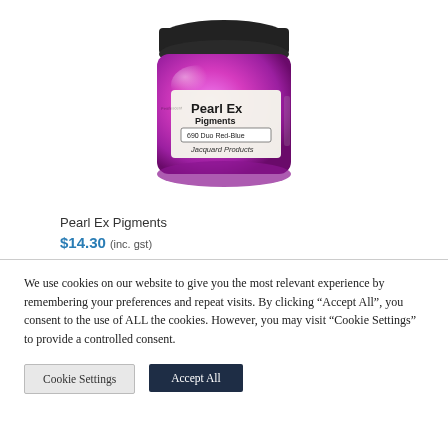[Figure (photo): A small jar of Pearl Ex Pigments, Duo Red-Blue color by Jacquard Products. The jar has a black lid and a metallic magenta/pink-purple body with a white label.]
Pearl Ex Pigments
$14.30 (inc. gst)
We use cookies on our website to give you the most relevant experience by remembering your preferences and repeat visits. By clicking “Accept All”, you consent to the use of ALL the cookies. However, you may visit "Cookie Settings" to provide a controlled consent.
Cookie Settings
Accept All